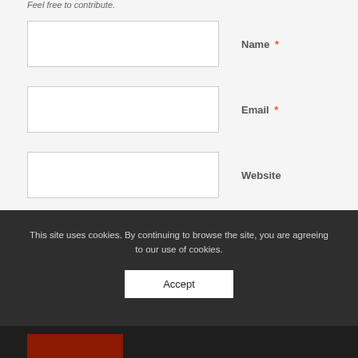Feel free to contribute.
Name *
Email *
Website
Save my name, email, and website in this browser for the next time I comment.
This site uses cookies. By continuing to browse the site, you are agreeing to our use of cookies.
Accept